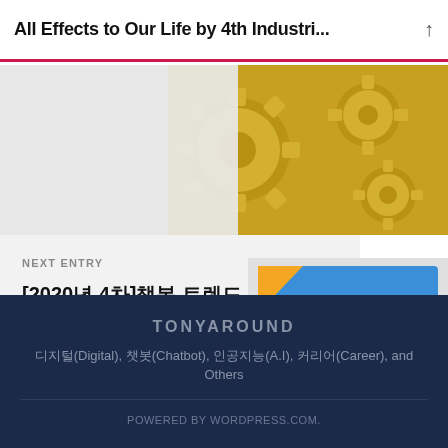All Effects to Our Life by 4th Industri...
[Figure (photo): Golden metallic gears/cogs machinery image, partially visible on the right side of the page]
NEXT ENTRY
[2020년 4차]챗봇 트렌드 분석 보고서 by TonyAround
[Figure (photo): Chatbot Trend Analysis Report book cover with blue background and white text, By TonyAround]
TONYAROUND — 디지털(Digital), 챗봇(Chatbot), 인공지능(A.I), 커리어(Career), and Others — POWERED BY WORDPRESS.COM.